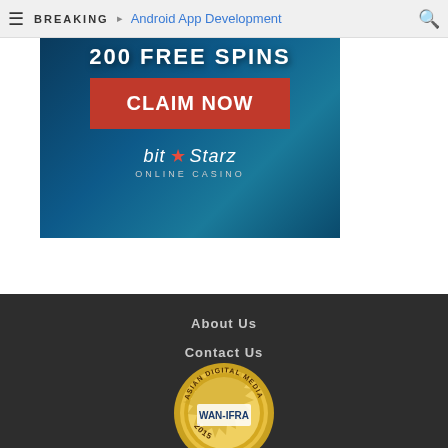BREAKING | Android App Development
[Figure (photo): BitStarz Online Casino advertisement banner with '200 Free Spins' text, red 'CLAIM NOW' button, and BitStarz Online Casino logo on a dark blue gradient background.]
About Us
Contact Us
[Figure (logo): Asian Digital Media Awards 2015 WAN-IFRA gold seal badge]